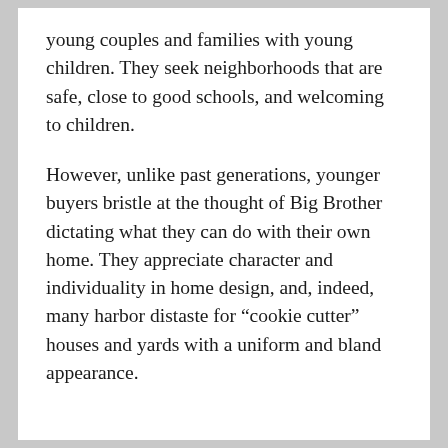young couples and families with young children. They seek neighborhoods that are safe, close to good schools, and welcoming to children.
However, unlike past generations, younger buyers bristle at the thought of Big Brother dictating what they can do with their own home. They appreciate character and individuality in home design, and, indeed, many harbor distaste for “cookie cutter” houses and yards with a uniform and bland appearance.